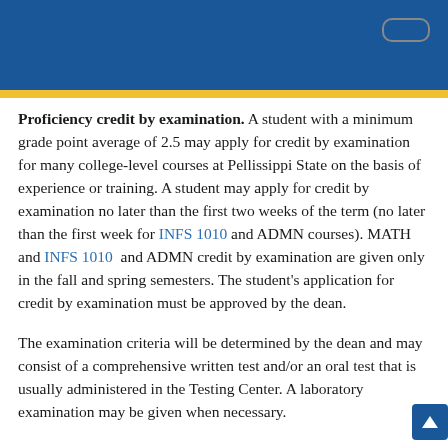Proficiency credit by examination. A student with a minimum grade point average of 2.5 may apply for credit by examination for many college-level courses at Pellissippi State on the basis of experience or training. A student may apply for credit by examination no later than the first two weeks of the term (no later than the first week for INFS 1010 and ADMN courses). MATH and INFS 1010 and ADMN credit by examination are given only in the fall and spring semesters. The student's application for credit by examination must be approved by the dean.
The examination criteria will be determined by the dean and may consist of a comprehensive written test and/or an oral test that is usually administered in the Testing Center. A laboratory examination may be given when necessary.
Credit by examination will be given on a pass/no pass basis